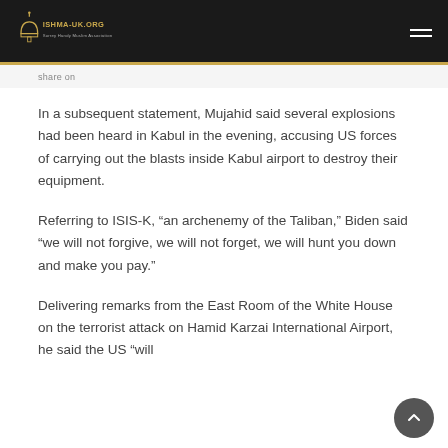ISHMA-UK.ORG - Surrey Handy Muslim Association
...breadcrumb...
In a subsequent statement, Mujahid said several explosions had been heard in Kabul in the evening, accusing US forces of carrying out the blasts inside Kabul airport to destroy their equipment.
Referring to ISIS-K, “an archenemy of the Taliban,” Biden said “we will not forgive, we will not forget, we will hunt you down and make you pay.”
Delivering remarks from the East Room of the White House on the terrorist attack on Hamid Karzai International Airport, he said the US “will